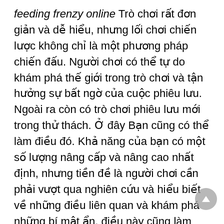feeding frenzy online Trò chơi rất đơn giản và dễ hiểu, nhưng lối chơi chiến lược không chỉ là một phương pháp chiến đấu. Người chơi có thể tự do khám phá thế giới trong trò chơi và tận hưởng sự bất ngờ của cuộc phiêu lưu. Ngoài ra còn có trò chơi phiêu lưu mới trong thử thách. Ở đây Bạn cũng có thể làm điều đó. Khả năng của bạn có một số lượng nâng cấp và nâng cao nhất định, nhưng tiền đề là người chơi cần phải vượt qua nghiên cứu và hiểu biết về những điều liên quan và khám phá những bí mật ẩn, điều này cũng làm cho trò chơi đầy đủ quan tâm , và màu màn hình khác nhau là khác nhau. Thế giới cổ tích cũng khác nhau. choi game naruto 2 nguoiThứ chín là